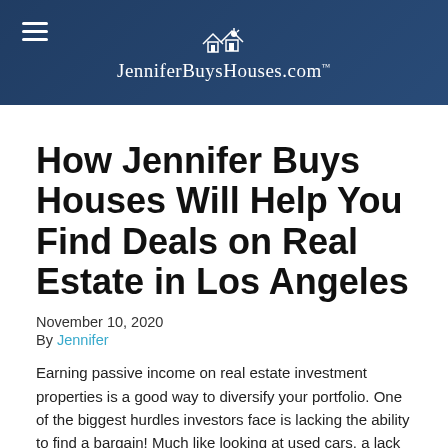[Figure (photo): Website header banner with dark blue overlay showing a person smiling in background, hamburger menu icon on the left, and JenniferBuysHouses.com logo with house icon in the center]
How Jennifer Buys Houses Will Help You Find Deals on Real Estate in Los Angeles
November 10, 2020
By Jennifer
Earning passive income on real estate investment properties is a good way to diversify your portfolio. One of the biggest hurdles investors face is lacking the ability to find a bargain! Much like looking at used cars, a lack of understanding means missing vital clues, often leading to buying what may appear to be a good deal, only to find